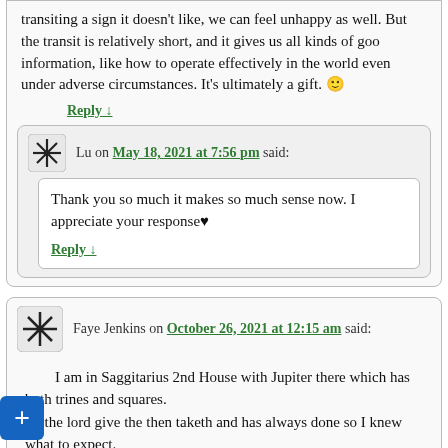transiting a sign it doesn't like, we can feel unhappy as well. But the transit is relatively short, and it gives us all kinds of goo information, like how to operate effectively in the world even under adverse circumstances. It's ultimately a gift. 🙂
Reply ↓
Lu on May 18, 2021 at 7:56 pm said:
Thank you so much it makes so much sense now. I appreciate your response♥
Reply ↓
Faye Jenkins on October 26, 2021 at 12:15 am said:
I am in Saggitarius 2nd House with Jupiter there which has both trines and squares.
So the lord give the then taketh and has always done so I knew what to expect.
Money was given then many unexpected accounts came in to pay out.
But Jupiter and its aspects still keeps me out of desperate trouble.
Thanks!